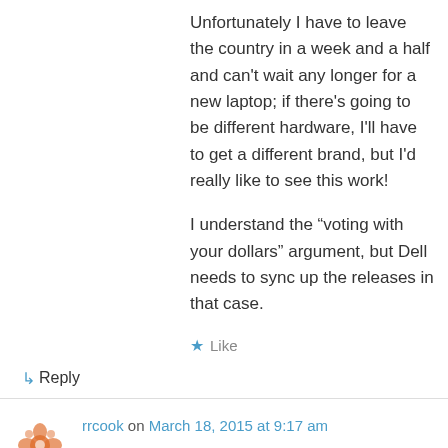Unfortunately I have to leave the country in a week and a half and can't wait any longer for a new laptop; if there's going to be different hardware, I'll have to get a different brand, but I'd really like to see this work!
I understand the “voting with your dollars” argument, but Dell needs to sync up the releases in that case.
★ Like
↳ Reply
rrcook on March 18, 2015 at 9:17 am
Barton, can you speak to battery life for the XPS 13 running Ubuntu vs. Windows? On other